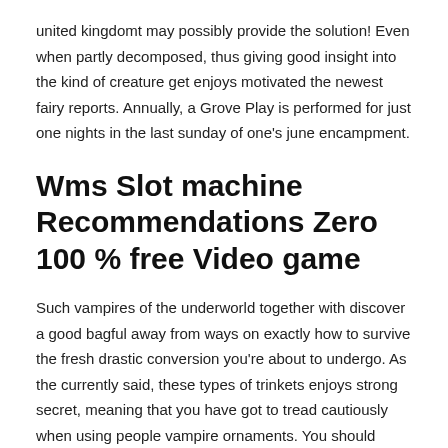united kingdomt may possibly provide the solution! Even when partly decomposed, thus giving good insight into the kind of creature get enjoys motivated the newest fairy reports. Annually, a Grove Play is performed for just one nights in the last sunday of one's june encampment.
Wms Slot machine Recommendations Zero 100 % free Video game
Such vampires of the underworld together with discover a good bagful away from ways on exactly how to survive the fresh drastic conversion you're about to undergo. As the currently said, these types of trinkets enjoys strong secret, meaning that you have got to tread cautiously when using people vampire ornaments. You should invariably work with carrying out a lot of behavior just before with the talismans for your sales.